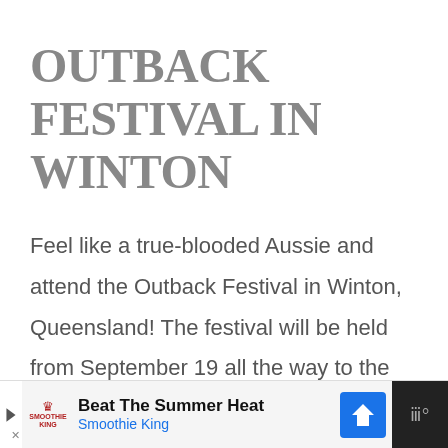OUTBACK FESTIVAL IN WINTON
Feel like a true-blooded Aussie and attend the Outback Festival in Winton, Queensland! The festival will be held from September 19 all the way to the 23rd, so make sure to mark your calendars during that day.
Beat The Summer Heat — Smoothie King (advertisement)